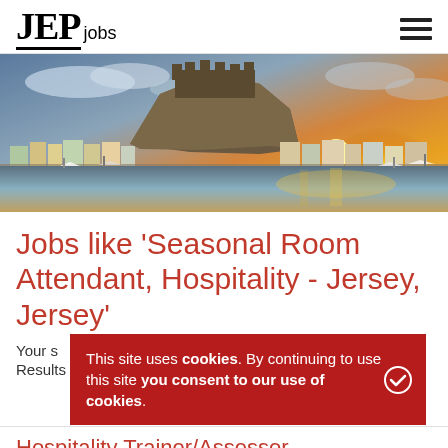JEP jobs
[Figure (photo): Panoramic sunset photo of a coastal town with a medieval castle on a rocky hill, boats in a harbour, colourful buildings along the waterfront, and dramatic orange sky.]
Jobs like 'Seasonal Room Attendant, Hospitality - Jersey, Jersey'
Your s
Results
This site uses cookies. By continuing to use this site you consent to our use of cookies.
Hospitality Trainer/Assessor